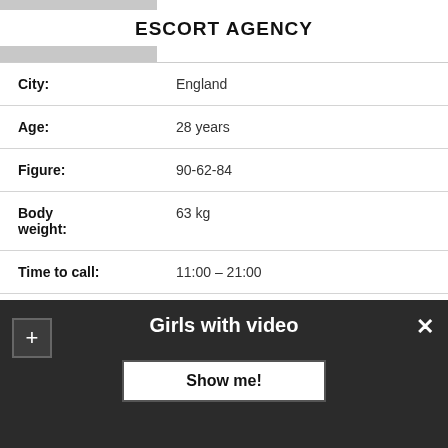ESCORT AGENCY
| Field | Value |
| --- | --- |
| City: | England |
| Age: | 28 years |
| Figure: | 90-62-84 |
| Body weight: | 63 kg |
| Time to call: | 11:00 – 21:00 |
| Anal: | +50$ |
| My Services: | Sex vaginal, Anal Play, Gangbang / Orgy |
| Outcall: | Possible |
Girls with video
Show me!